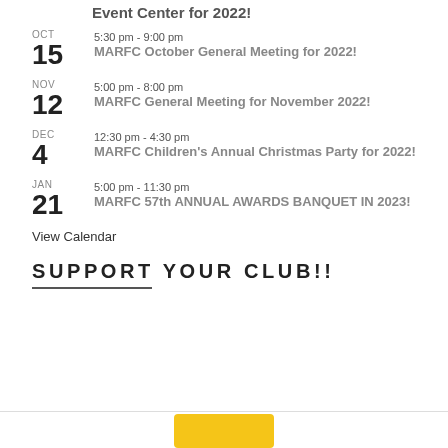Event Center for 2022!
OCT 15  5:30 pm - 9:00 pm  MARFC October General Meeting for 2022!
NOV 12  5:00 pm - 8:00 pm  MARFC General Meeting for November 2022!
DEC 4  12:30 pm - 4:30 pm  MARFC Children's Annual Christmas Party for 2022!
JAN 21  5:00 pm - 11:30 pm  MARFC 57th ANNUAL AWARDS BANQUET IN 2023!
View Calendar
SUPPORT YOUR CLUB!!